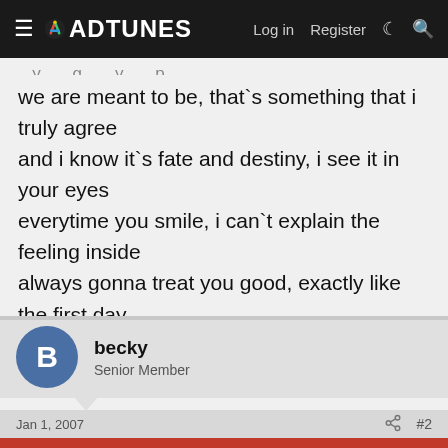≡ 🎵 ADTUNES   Log in   Register
we are meant to be, that`s something that i truly agree
and i know it`s fate and destiny, i see it in your eyes
everytime you smile, i can`t explain the feeling inside
always gonna treat you good, exactly like the first day
just promise to me, baby, that you`ll never go away
becky
Senior Member
Jan 1, 2007   #2
This site uses cookies to help personalise content, tailor your experience and to keep you logged in if you register.
By continuing to use this site, you are consenting to our use of cookies.